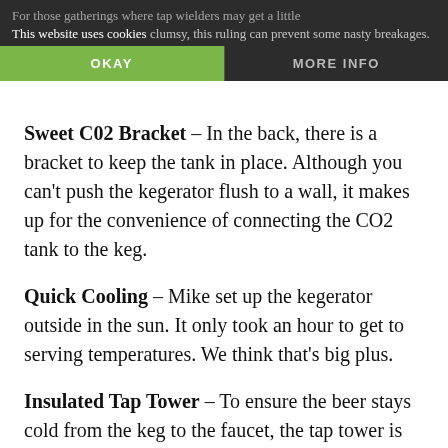For those gatherings where tap wielders may get a little clumsy, this ruling can prevent some nasty breakages.
This website uses cookies
OKAY | MORE INFO
Sweet C02 Bracket – In the back, there is a bracket to keep the tank in place. Although you can't push the kegerator flush to a wall, it makes up for the convenience of connecting the CO2 tank to the keg.
Quick Cooling – Mike set up the kegerator outside in the sun. It only took an hour to get to serving temperatures. We think that's big plus.
Insulated Tap Tower – To ensure the beer stays cold from the keg to the faucet, the tap tower is fully insulated. You don't want the beer to get warm in that 'last mile' to your glass.